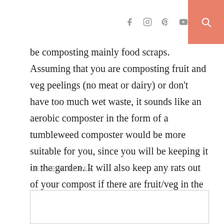[social icons: Facebook, Instagram, Pinterest, YouTube] [search]
be composting mainly food scraps. Assuming that you are composting fruit and veg peelings (no meat or dairy) or don't have too much wet waste, it sounds like an aerobic composter in the form of a tumbleweed composter would be more suitable for you, since you will be keeping it in the garden. It will also keep any rats out of your compost if there are fruit/veg in the composter. Feel free to share more details with me and I will be able to further advise 🙂
LEAVE A REPLY